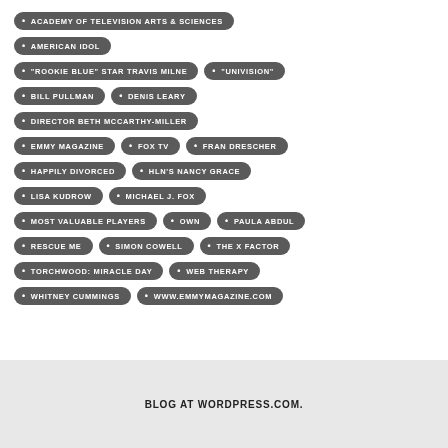ACADEMY OF TELEVISION ARTS & SCIENCES
AMERICAN IDOL
"ROOKIE BLUE" STAR TRAVIS MILNE
"UNIVISION"
BILL PULLMAN
DENIS LEARY
DIRECTOR BETH MCCARTHY-MILLER
EMMY MAGAZINE
FOX TV
FRAN DRESCHER
HAPPILY DIVORCED
HLN'S NANCY GRACE
LISA KUDROW
MICHAEL J. FOX
MOST VALUABLE PLAYERS
OWN
PAULA ABDUL
RESCUE ME
SIMON COWELL
THE X FACTOR
TORCHWOOD: MIRACLE DAY
WEB THERAPY
WHITNEY CUMMINGS
WWW.EMMYMAGAZINE.COM
BLOG AT WORDPRESS.COM.